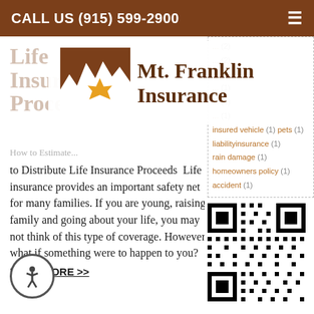CALL US (915) 599-2900
[Figure (logo): Mt. Franklin Insurance logo with mountain and star icon, brown color scheme]
Life Insurance Proceeds
How to Estimate... to Distribute Life Insurance Proceeds  Life insurance provides an important safety net for many families. If you are young, raising a family and going about your life, you may not think of this type of coverage. However, what if something were to happen to you?
READ MORE >>
insured vehicle (1)  pets (1)
liabilityinsurance (1)
rain damage (1)
homeowners policy (1)
accident (1)
[Figure (other): QR code for Mt. Franklin Insurance website]